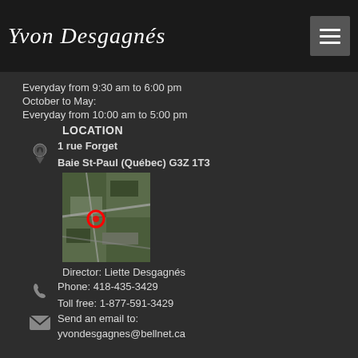Yvon Desgagnés
Everyday from 9:30 am to 6:00 pm
October to May:
Everyday from 10:00 am to 5:00 pm
LOCATION
1 rue Forget
Baie St-Paul (Québec) G3Z 1T3
[Figure (map): Satellite/aerial map showing location pin at 1 rue Forget, Baie St-Paul, Québec]
Director: Liette Desgagnés
Phone: 418-435-3429
Toll free: 1-877-591-3429
Send an email to:
yvondesgagnes@bellnet.ca